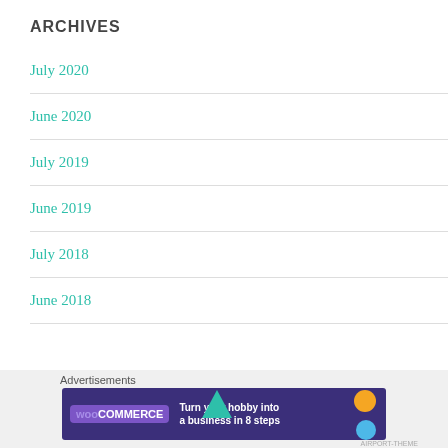ARCHIVES
July 2020
June 2020
July 2019
June 2019
July 2018
June 2018
Advertisements
[Figure (screenshot): WooCommerce advertisement banner: 'Turn your hobby into a business in 8 steps']